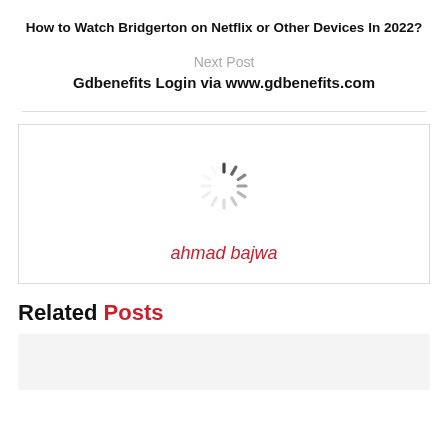How to Watch Bridgerton on Netflix or Other Devices In 2022?
Next Post
Gdbenefits Login via www.gdbenefits.com
[Figure (illustration): Spinner/loading indicator graphic centered in an author box]
ahmad bajwa
Related Posts